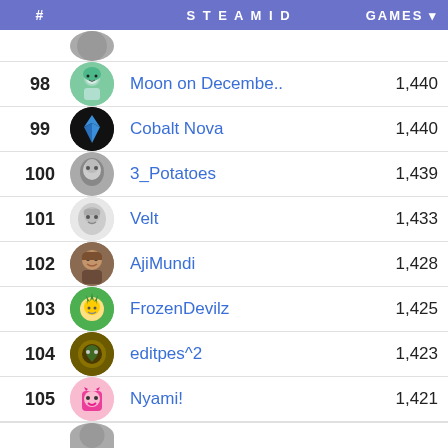| # | STEAM ID | GAMES |
| --- | --- | --- |
| 98 | Moon on Decembe.. | 1,440 |
| 99 | Cobalt Nova | 1,440 |
| 100 | 3_Potatoes | 1,439 |
| 101 | Velt | 1,433 |
| 102 | AjiMundi | 1,428 |
| 103 | FrozenDevilz | 1,425 |
| 104 | editpes^2 | 1,423 |
| 105 | Nyami! | 1,421 |